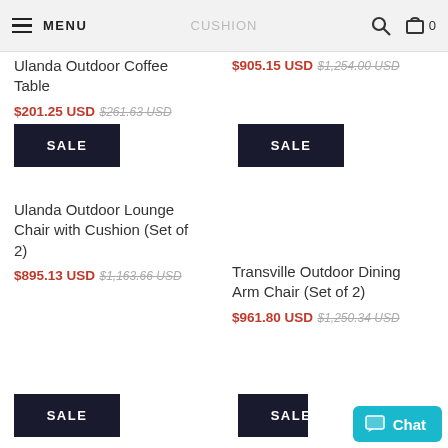MENU | CUSHION | Search | Cart 0
Ulanda Outdoor Coffee Table
$201.25 USD $261.63 USD
$905.15 USD $1,254.00 USD
[Figure (other): SALE badge black square]
Ulanda Outdoor Lounge Chair with Cushion (Set of 2)
$895.13 USD $1,163.66 USD
[Figure (other): SALE badge black square]
Transville Outdoor Dining Arm Chair (Set of 2)
$961.80 USD $1,250.34 USD
[Figure (other): SALE badge black square]
[Figure (other): SALE badge black square (partial right)]
Chat